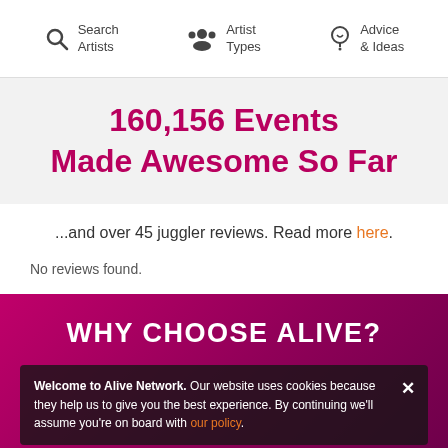Search Artists | Artist Types | Advice & Ideas
160,156 Events Made Awesome So Far
...and over 45 juggler reviews. Read more here.
No reviews found.
WHY CHOOSE ALIVE?
Welcome to Alive Network. Our website uses cookies because they help us to give you the best experience. By continuing we'll assume you're on board with our policy.